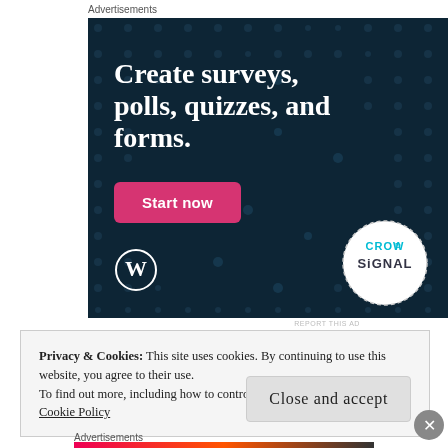Advertisements
[Figure (illustration): Advertisement banner for Crowdsignal on dark navy background with dot pattern. Large white bold text reads 'Create surveys, polls, quizzes, and forms.' with a pink 'Start now' button, WordPress logo bottom-left, and Crowdsignal circular badge bottom-right.]
REPORT THIS AD
Privacy & Cookies: This site uses cookies. By continuing to use this website, you agree to their use.
To find out more, including how to control cookies, see here:
Cookie Policy
Advertisements